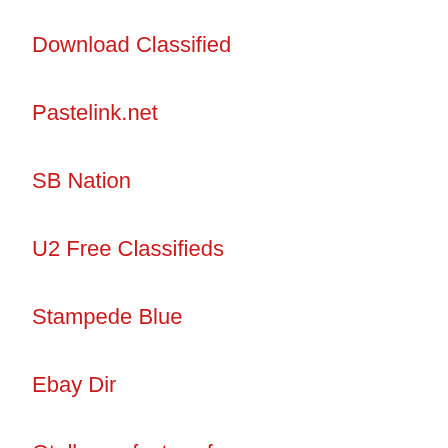Download Classified
Pastelink.net
SB Nation
U2 Free Classifieds
Stampede Blue
Ebay Dir
Qtellmanufacturerforum
BusinessesHQ
Draftkings Nation